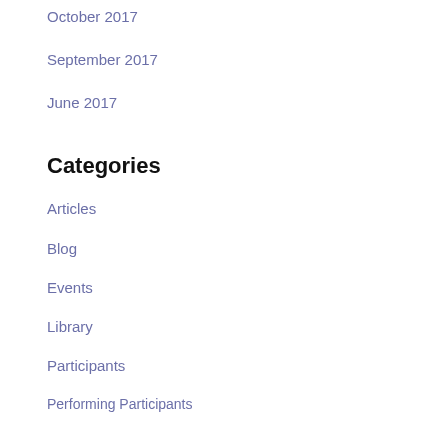October 2017
September 2017
June 2017
Categories
Articles
Blog
Events
Library
Participants
Performing Participants
Steering
Uncategorised
Meta